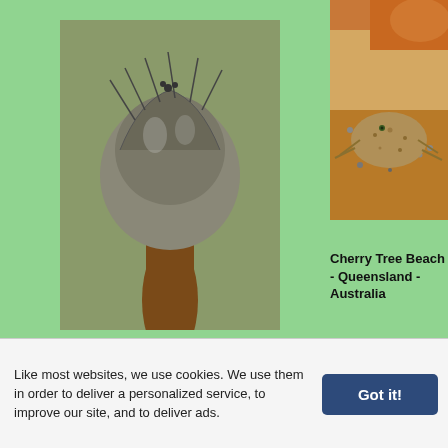[Figure (photo): Close-up macro photograph of a barnacle or similar crustacean clinging to a brown stalk or reed, with bristly legs visible, on a green background.]
Fushan Village - Taitung County - Taiwan (07/2015)
[Figure (photo): Photograph of a small crab or crustacean camouflaged in sandy/rocky beach substrate with orange and brown tones.]
Cherry Tree Beach - Queensland - Australia
[Figure (photo): Photograph of a pale pink/beige jellyfish or similar aquatic creature floating on dark water surface with ripples.]
[Figure (photo): Photograph of a pale pink/beige aquatic creature (possibly jellyfish or nudibranch) on dark background.]
Like most websites, we use cookies. We use them in order to deliver a personalized service, to improve our site, and to deliver ads.
Got it!